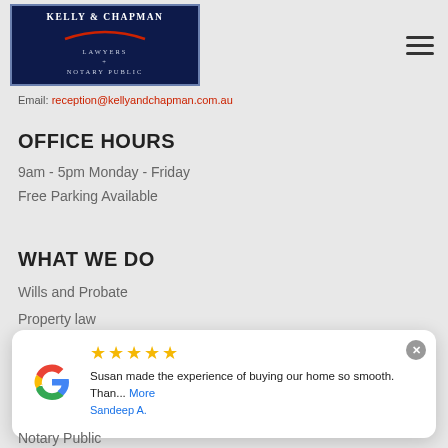[Figure (logo): Kelly & Chapman Lawyers + Notary Public logo - dark navy blue box with white text and red arc]
Email: reception@kellyandchapman.com.au
OFFICE HOURS
9am - 5pm Monday - Friday
Free Parking Available
WHAT WE DO
Wills and Probate
Property law
Business Law
Susan made the experience of buying our home so smooth. Than... More
Sandeep A.
Notary Public